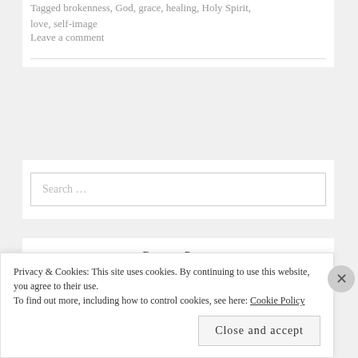Tagged brokenness, God, grace, healing, Holy Spirit, love, self-image
Leave a comment
Search ...
- Recent Posts -
Privacy & Cookies: This site uses cookies. By continuing to use this website, you agree to their use. To find out more, including how to control cookies, see here: Cookie Policy
Close and accept